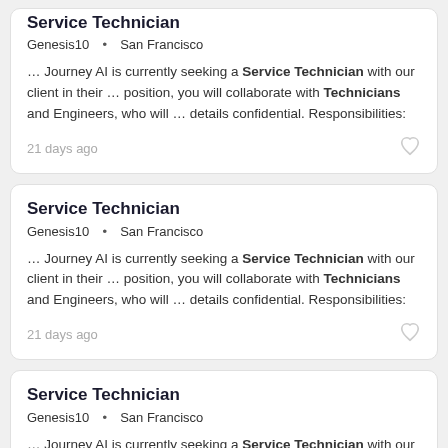Service Technician
Genesis10 · San Francisco
… Journey AI is currently seeking a Service Technician with our client in their … position, you will collaborate with Technicians and Engineers, who will … details confidential. Responsibilities:
21 days ago
Service Technician
Genesis10 · San Francisco
… Journey AI is currently seeking a Service Technician with our client in their … position, you will collaborate with Technicians and Engineers, who will … details confidential. Responsibilities:
21 days ago
Service Technician
Genesis10 · San Francisco
… Journey AI is currently seeking a Service Technician with our client in their … position, you will collaborate with Technicians and Engineers, who will … details confidential. Responsibilities: